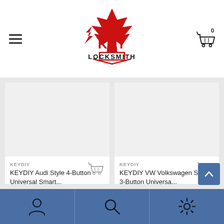[Figure (logo): Top Key Locksmith logo with red maple leaf and bold red/black text]
[Figure (illustration): Shopping cart icon with badge showing 0 in top right of header]
[Figure (photo): Product image placeholder for KEYDIY Audi Style 4-Button Universal Smart key]
KEYDIY
KEYDIY Audi Style 4-Button Universal Smart...
$60.00
[Figure (illustration): Shopping cart icon for add to cart]
[Figure (photo): Product image placeholder for KEYDIY VW Volkswagen Style 3-Button Universal key]
KEYDIY
KEYDIY VW Volkswagen Style 3-Button Universa...
$60.00
[Figure (illustration): Shopping cart icon for add to cart]
[Figure (illustration): Scroll to top button with upward chevron]
[Figure (illustration): Bottom navigation bar with person/account icon, search icon, and settings/gear icon]